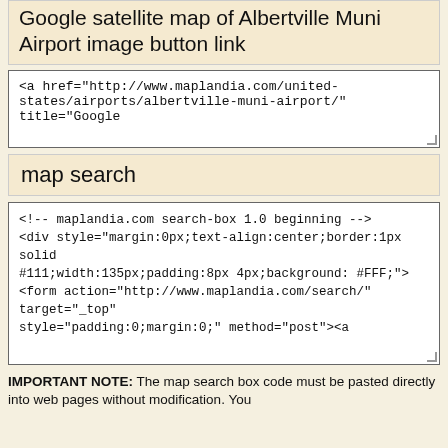Google satellite map of Albertville Muni Airport image button link
[Figure (logo): Maplandia google maps logo with red italic text and grey subtitle]
<a href="http://www.maplandia.com/united-states/airports/albertville-muni-airport/" title="Google
map search
[Figure (screenshot): Maplandia.com search widget with input field and find map button]
<!-- maplandia.com search-box 1.0 beginning -->
<div style="margin:0px;text-align:center;border:1px solid #111;width:135px;padding:8px 4px;background: #FFF;"> <form action="http://www.maplandia.com/search/" target="_top" style="padding:0;margin:0;" method="post"><a
IMPORTANT NOTE: The map search box code must be pasted directly into web pages without modification. You